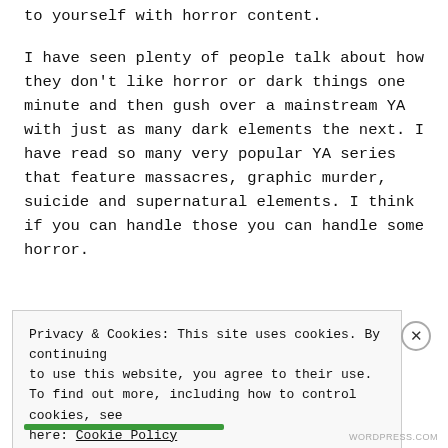to yourself with horror content.

I have seen plenty of people talk about how they don't like horror or dark things one minute and then gush over a mainstream YA with just as many dark elements the next. I have read so many very popular YA series that feature massacres, graphic murder, suicide and supernatural elements. I think if you can handle those you can handle some horror.
Privacy & Cookies: This site uses cookies. By continuing to use this website, you agree to their use. To find out more, including how to control cookies, see here: Cookie Policy
Close and accept